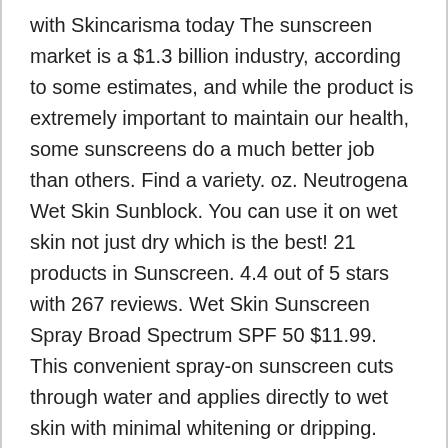with Skincarisma today The sunscreen market is a $1.3 billion industry, according to some estimates, and while the product is extremely important to maintain our health, some sunscreens do a much better job than others. Find a variety. oz. Neutrogena Wet Skin Sunblock. You can use it on wet skin not just dry which is the best! 21 products in Sunscreen. 4.4 out of 5 stars with 267 reviews. Wet Skin Sunscreen Spray Broad Spectrum SPF 50 $11.99. This convenient spray-on sunscreen cuts through water and applies directly to wet skin with minimal whitening or dripping. Mineral sunscreens contain active mineral (surprise!) February 12th 2018, 8:10 am. Sunscreen lotion, sprays & sticks to protect the whole family from UV rays. 4.4 Reviews. Neutrogena Wet Skin Sunscreen Spray SPF 50: rated 2 out of 5 on MakeupAlley. Sort by. Neutrogena Wet Skin Sunblock. Buy top selling products like Neutrogena®